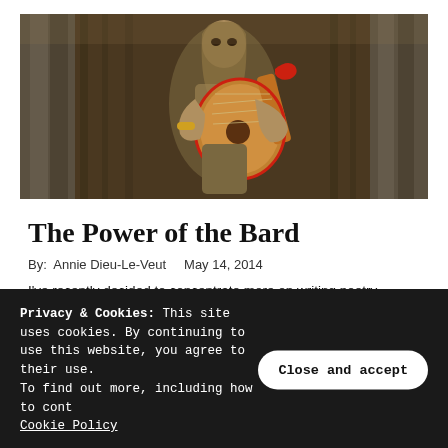[Figure (screenshot): A fantasy game character, an armored female figure playing a large ornate lute/lyre instrument. Background shows stone columns and curtains. Dark atmospheric scene.]
The Power of the Bard
By:  Annie Dieu-Le-Veut    May 14, 2014
I've recently decided to concentrate more on writing poetry
Privacy & Cookies: This site uses cookies. By continuing to use this website, you agree to their use.
To find out more, including how to cont
Cookie Policy
Close and accept
those…